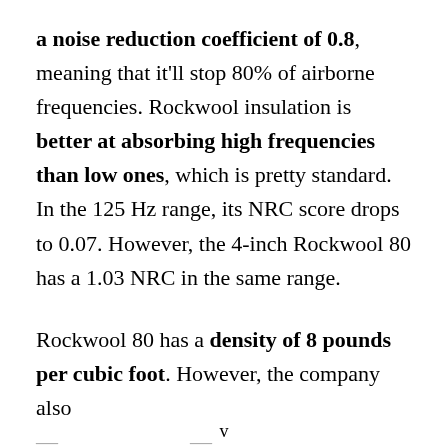a noise reduction coefficient of 0.8, meaning that it'll stop 80% of airborne frequencies. Rockwool insulation is better at absorbing high frequencies than low ones, which is pretty standard. In the 125 Hz range, its NRC score drops to 0.07. However, the 4-inch Rockwool 80 has a 1.03 NRC in the same range.
Rockwool 80 has a density of 8 pounds per cubic foot. However, the company also [continues below]
v